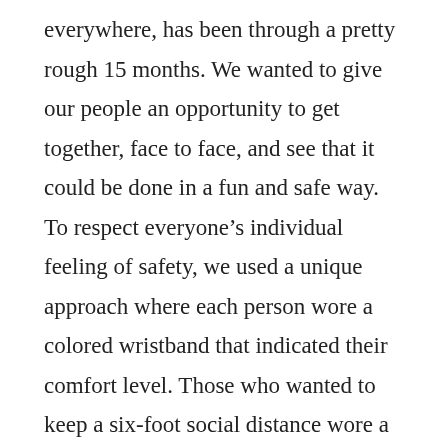everywhere, has been through a pretty rough 15 months. We wanted to give our people an opportunity to get together, face to face, and see that it could be done in a fun and safe way. To respect everyone's individual feeling of safety, we used a unique approach where each person wore a colored wristband that indicated their comfort level. Those who wanted to keep a six-foot social distance wore a red wristband. People who preferred an elbows-only distance wore yellow. And those of us who wore green